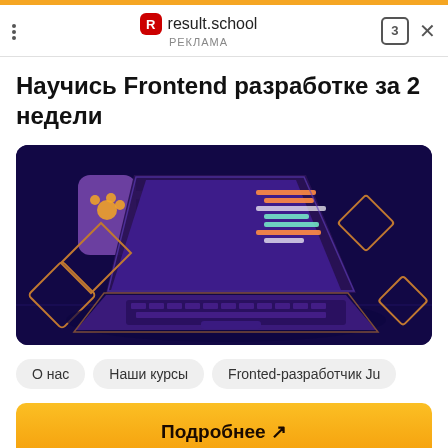result.school — РЕКЛАМА
Научись Frontend разработке за 2 недели
[Figure (illustration): Isometric illustration of a glowing purple laptop with code editor on screen, a purple mug with a paw print, and decorative diamond shapes on a dark blue/purple background]
О нас
Наши курсы
Fronted-разработчик Ju
Подробнее ↗